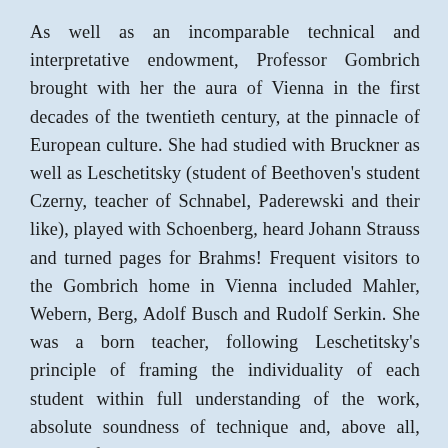As well as an incomparable technical and interpretative endowment, Professor Gombrich brought with her the aura of Vienna in the first decades of the twentieth century, at the pinnacle of European culture. She had studied with Bruckner as well as Leschetitsky (student of Beethoven's student Czerny, teacher of Schnabel, Paderewski and their like), played with Schoenberg, heard Johann Strauss and turned pages for Brahms! Frequent visitors to the Gombrich home in Vienna included Mahler, Webern, Berg, Adolf Busch and Rudolf Serkin. She was a born teacher, following Leschetitsky's principle of framing the individuality of each student within full understanding of the work, absolute soundness of technique and, above all, beauty of tone.